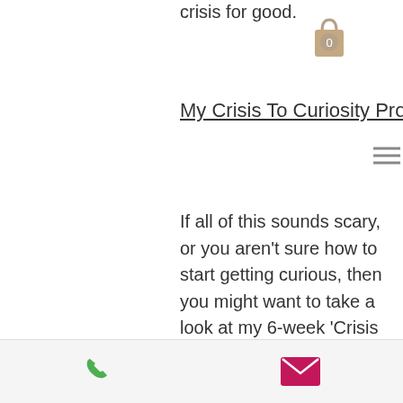crisis for good.
My Crisis To Curiosity Program
If all of this sounds scary, or you aren't sure how to start getting curious, then you might want to take a look at my 6-week 'Crisis To Curiosity' coaching program.
During the 6 weeks, I support and guide you through the process of getting curious